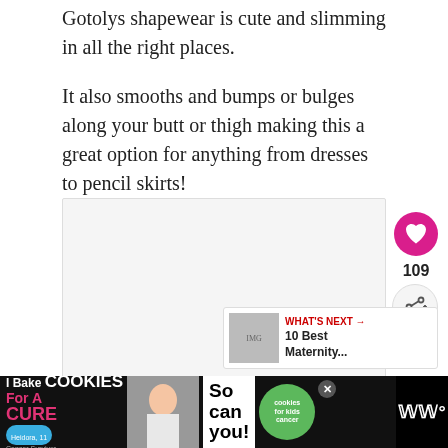Gotolys shapewear is cute and slimming in all the right places.
It also smooths and bumps or bulges along your butt or thigh making this a great option for anything from dresses to pencil skirts!
[Figure (photo): Product image area (light gray placeholder), with pink heart/like button showing 109 likes, share button, and 'What's Next' preview panel showing '10 Best Maternity...']
[Figure (infographic): Advertisement banner: 'I Bake COOKIES For A CURE' with photo of girl and 'So can you!' text, cookies for kids cancer logo, close button, and WW logo]